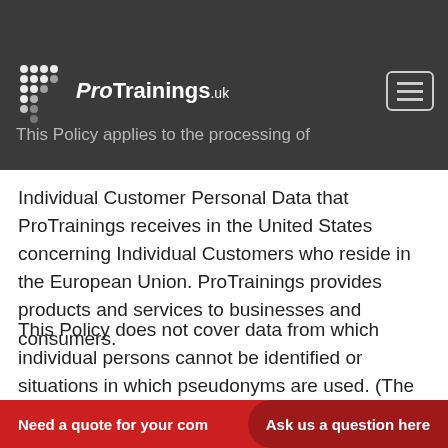ProTrainings.uk
Individual Customer Personal Data that ProTrainings receives in the United States concerning Individual Customers who reside in the European Union. ProTrainings provides products and services to businesses and consumers.
This Policy does not cover data from which individual persons cannot be identified or situations in which pseudonyms are used. (The use of pseudonyms involves the replacement of names or other identifiers with